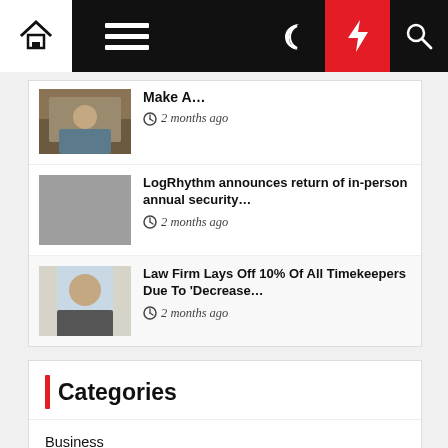[Figure (screenshot): Navigation bar with home icon, hamburger menu, moon icon, lightning bolt (red background), and search icon on dark background]
Make A... 2 months ago
LogRhythm announces return of in-person annual security... 2 months ago
Law Firm Lays Off 10% Of All Timekeepers Due To 'Decrease... 2 months ago
Categories
Business